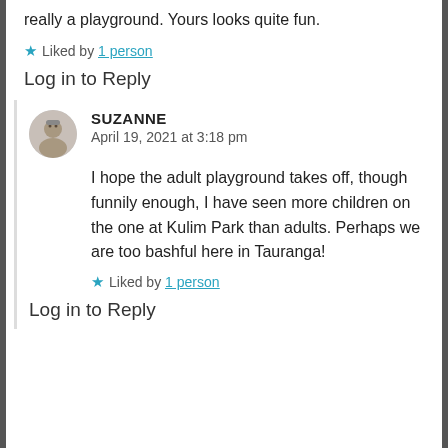really a playground. Yours looks quite fun.
★ Liked by 1 person
Log in to Reply
SUZANNE
April 19, 2021 at 3:18 pm
I hope the adult playground takes off, though funnily enough, I have seen more children on the one at Kulim Park than adults. Perhaps we are too bashful here in Tauranga!
★ Liked by 1 person
Log in to Reply